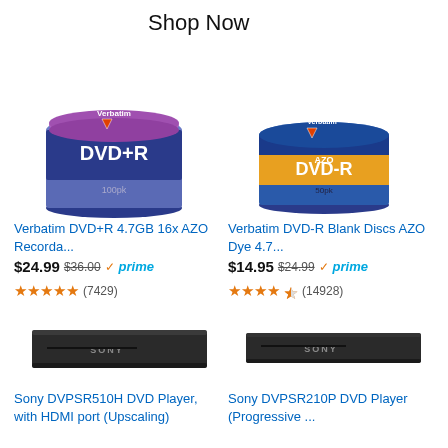Shop Now
[Figure (photo): Verbatim DVD+R 4.7GB 100-pack spindle with purple disc design]
[Figure (photo): Verbatim AZO DVD-R 50-pack spindle with orange and blue design]
Verbatim DVD+R 4.7GB 16x AZO Recorda...
Verbatim DVD-R Blank Discs AZO Dye 4.7...
$24.99  $36.00  prime  (7429 reviews, ~5 stars)
$14.95  $24.99  prime  (14928 reviews, ~4.5 stars)
[Figure (photo): Sony DVPSR510H DVD Player, slim black device]
[Figure (photo): Sony DVPSR210P DVD Player, slim black device]
Sony DVPSR510H DVD Player, with HDMI port (Upscaling)
Sony DVPSR210P DVD Player (Progressive ...